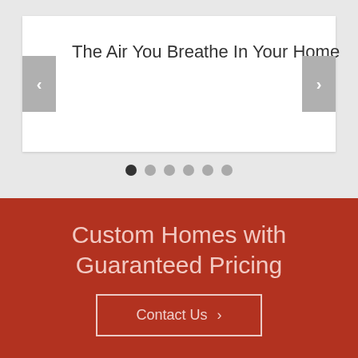The Air You Breathe In Your Home
[Figure (screenshot): Slider/carousel widget with navigation arrows and dot indicators. White card with title text, left and right grey navigation buttons, and six pagination dots below.]
Custom Homes with Guaranteed Pricing
Contact Us >